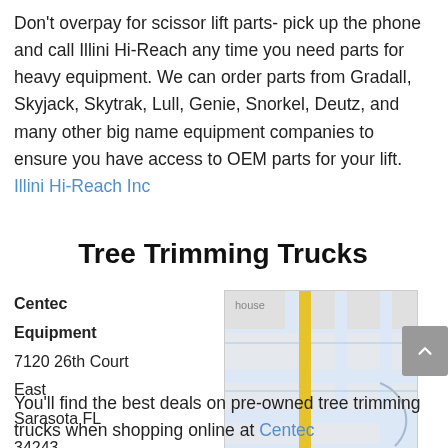Don't overpay for scissor lift parts- pick up the phone and call Illini Hi-Reach any time you need parts for heavy equipment. We can order parts from Gradall, Skyjack, Skytrak, Lull, Genie, Snorkel, Deutz, and many other big name equipment companies to ensure you have access to OEM parts for your lift. Illini Hi-Reach Inc
Tree Trimming Trucks
Centec Equipment
7120 26th Court East
Sarasota FL 34243
centecequipmentsales.com
[Figure (map): Google map showing street view of a location near Sarasota FL, with a yellow highlighted road running vertically through the center of the map.]
You'll find the best deals on pre-owned tree trimming trucks when shopping online at Centec